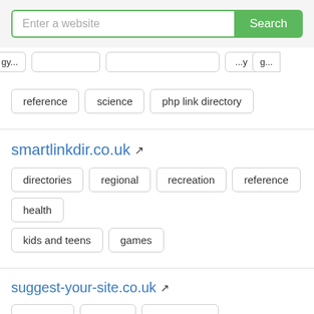[Figure (screenshot): Search bar with placeholder 'Enter a website' and a green 'Search' button]
reference
science
php link directory
smartlinkdir.co.uk
directories
regional
recreation
reference
health
kids and teens
games
suggest-your-site.co.uk